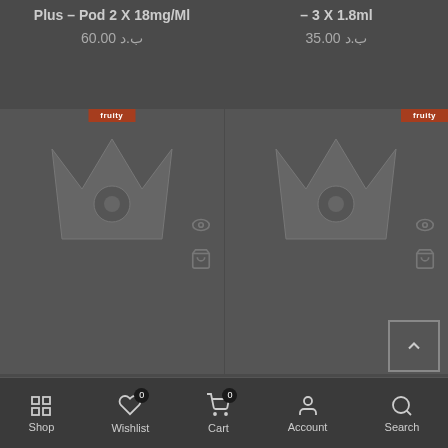Plus – Pod 2 X 18mg/Ml
60.00 ب.د
– 3 X 1.8ml
35.00 ب.د
[Figure (screenshot): Product card for RELX Infinity Pod Kit Fresh Red with fruity badge, product image (crown logo), eye and cart action icons]
Relx
RELX Infinity Pod Kit Fresh Red – Pod 2 X 18mg/Ml
60.00 ب.د
[Figure (screenshot): Product card for PS One Doozy Grape Crush with fruity badge, product image (crown logo), eye and cart action icons]
PS One
PS One Doozy Grape Crush 2 X 1.8ml Pods
50.00 ب.د
Shop | Wishlist (0) | Cart (0) | Account | Search